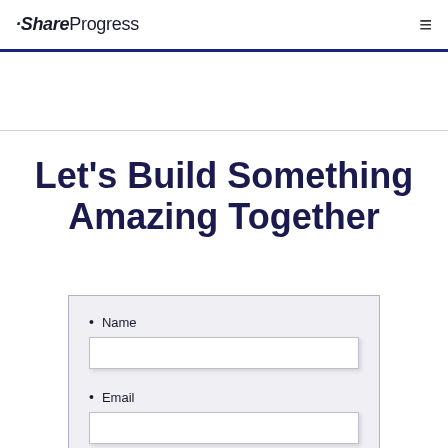ShareProgress
Let's Build Something Amazing Together
Name
Email